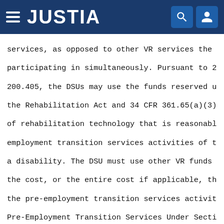JUSTIA
services, as opposed to other VR services the participating in simultaneously. Pursuant to 2 200.405, the DSUs may use the funds reserved u the Rehabilitation Act and 34 CFR 361.65(a)(3) of rehabilitation technology that is reasonabl employment transition services activities of t a disability. The DSU must use other VR funds the cost, or the entire cost if applicable, th the pre-employment transition services activit Pre-Employment Transition Services Under Secti
Section 103(a)(15) and 34 CFR 361.48(b)(18 transition services, including pre-employment eligible students with disabilities. For purpo interpretation, we discuss transition services section. This discussion focuses solely on the transition services available under section 16 361.48(b)(18). As with the orientation and mob